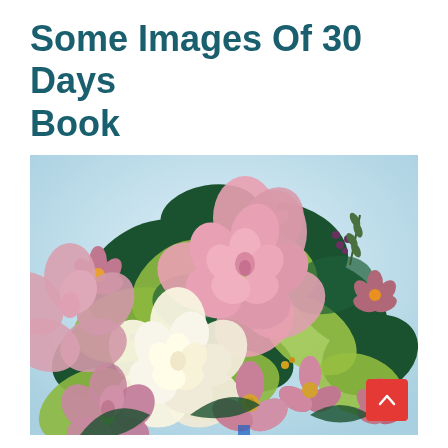Some Images Of 30 Days Book
[Figure (photo): A bouquet of flowers including pink roses, white roses, and small pink flowers surrounded by green and yellow-green leaves. The arrangement is photographed close-up against a light background.]